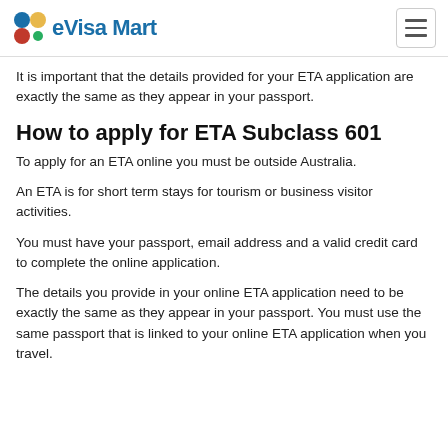eVisa Mart
It is important that the details provided for your ETA application are exactly the same as they appear in your passport.
How to apply for ETA Subclass 601
To apply for an ETA online you must be outside Australia.
An ETA is for short term stays for tourism or business visitor activities.
You must have your passport, email address and a valid credit card to complete the online application.
The details you provide in your online ETA application need to be exactly the same as they appear in your passport. You must use the same passport that is linked to your online ETA application when you travel.